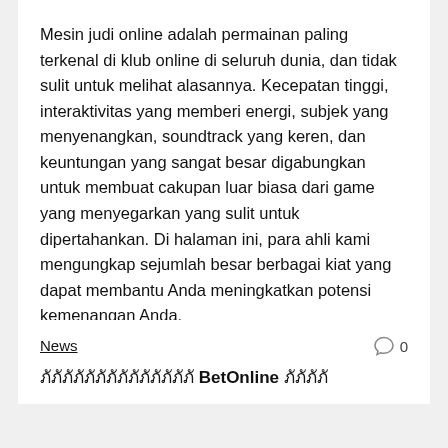Mesin judi online adalah permainan paling terkenal di klub online di seluruh dunia, dan tidak sulit untuk melihat alasannya. Kecepatan tinggi, interaktivitas yang memberi energi, subjek yang menyenangkan, soundtrack yang keren, dan keuntungan yang sangat besar digabungkan untuk membuat cakupan luar biasa dari game yang menyegarkan yang sulit untuk dipertahankan. Di halaman ini, para ahli kami mengungkap sejumlah besar berbagai kiat yang dapat membantu Anda meningkatkan potensi kemenangan Anda.
by admin — August 29, 2022
News
0
ภัภัภัภัภัภัภัภัภัภัภัภัภัภั BetOnline ภัภัภัภั